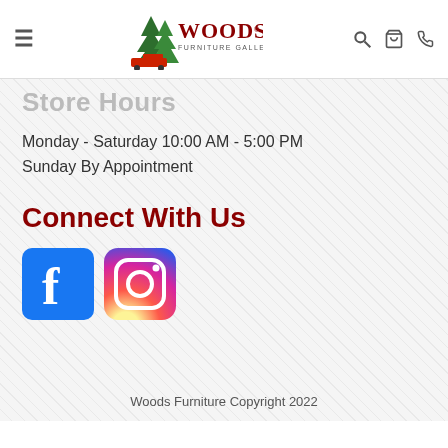[Figure (logo): Woods Furniture Gallery & Design logo with pine trees and red truck]
Store Hours
Monday - Saturday 10:00 AM - 5:00 PM
Sunday By Appointment
Connect With Us
[Figure (logo): Facebook and Instagram social media icons]
Woods Furniture Copyright 2022